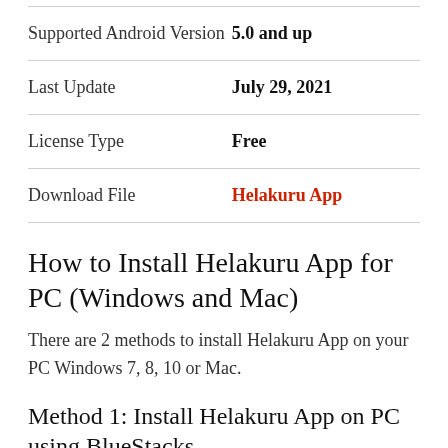|  |  |
| --- | --- |
| Supported Android Version | 5.0 and up |
| Last Update | July 29, 2021 |
| License Type | Free |
| Download File | Helakuru App |
How to Install Helakuru App for PC (Windows and Mac)
There are 2 methods to install Helakuru App on your PC Windows 7, 8, 10 or Mac.
Method 1: Install Helakuru App on PC using BlueStacks